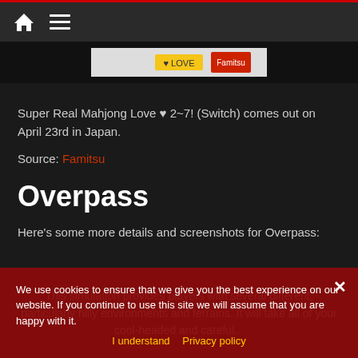Home | Menu
[Figure (screenshot): Partial image strip at top of page, showing a cropped game banner image]
Super Real Mahjong Love ♥ 2~7! (Switch) comes out on April 23rd in Japan.
Source: Famitsu
Overpass
Here's some more details and screenshots for Overpass:
We use cookies to ensure that we give you the best experience on our website. If you continue to use this site we will assume that you are happy with it.
I understand   Privacy policy
This simulation provides players with several different, particularly hilly environments and terrains. It will take all of your cool-headed and careful...